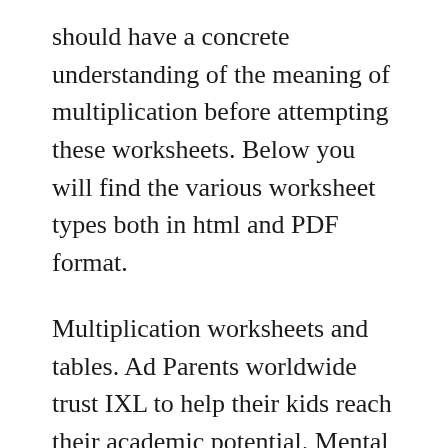should have a concrete understanding of the meaning of multiplication before attempting these worksheets. Below you will find the various worksheet types both in html and PDF format.
Multiplication worksheets and tables. Ad Parents worldwide trust IXL to help their kids reach their academic potential. Mental Math Grade 3 Day 24 Kids Math Worksheets First Grade Math Worksheets Mental Math The worksheets support any fourth grade.
A store sold 23 toy cars over the weekend. The